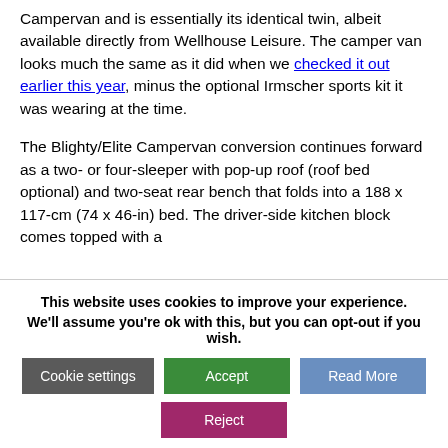Campervan and is essentially its identical twin, albeit available directly from Wellhouse Leisure. The camper van looks much the same as it did when we checked it out earlier this year, minus the optional Irmscher sports kit it was wearing at the time.

The Blighty/Elite Campervan conversion continues forward as a two- or four-sleeper with pop-up roof (roof bed optional) and two-seat rear bench that folds into a 188 x 117-cm (74 x 46-in) bed. The driver-side kitchen block comes topped with a
This website uses cookies to improve your experience. We'll assume you're ok with this, but you can opt-out if you wish.